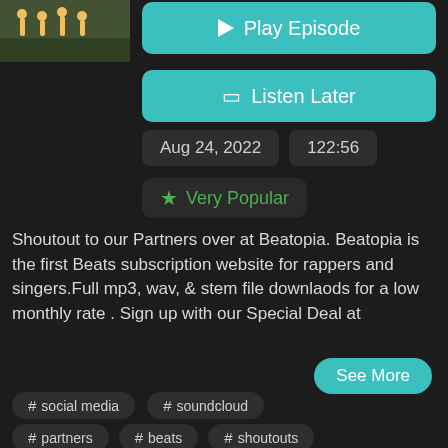[Figure (photo): Thumbnail image showing people on what appears to be a sports field or outdoor scene]
▶ Play Episode
🔖 Listen Later
Aug 24, 2022    122:56
★ Very Popular
Shoutout to our Partners over at Beatopia. Beatopia is the first Beats subscription website for rappers and singers.Full mp3, wav, & stem file downlaods for a low monthly rate . Sign up with our Special Deal at
See More
# social media
# soundcloud
# partners
# beats
# shoutouts